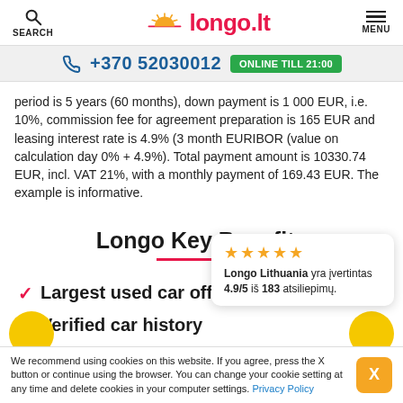SEARCH | longo.lt | MENU
+370 52030012 ONLINE TILL 21:00
period is 5 years (60 months), down payment is 1 000 EUR, i.e. 10%, commission fee for agreement preparation is 165 EUR and leasing interest rate is 4.9% (3 month EURIBOR (value on calculation day 0% + 4.9%). Total payment amount is 10330.74 EUR, incl. VAT 21%, with a monthly payment of 169.43 EUR. The example is informative.
Longo Key Benefits
[Figure (other): Rating popup showing 5 gold stars and text: Longo Lithuania yra įvertintas 4.9/5 iš 183 atsiliepimų.]
Largest used car offer
Verified car history
We recommend using cookies on this website. If you agree, press the X button or continue using the browser. You can change your cookie setting at any time and delete cookies in your computer settings. Privacy Policy